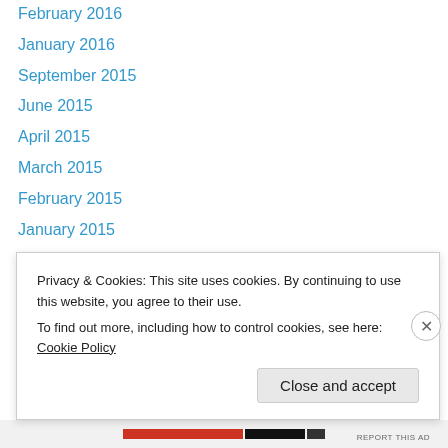February 2016
January 2016
September 2015
June 2015
April 2015
March 2015
February 2015
January 2015
December 2014
November 2014
October 2014
August 2014
June 2014
May 2014
Privacy & Cookies: This site uses cookies. By continuing to use this website, you agree to their use.
To find out more, including how to control cookies, see here: Cookie Policy
Close and accept